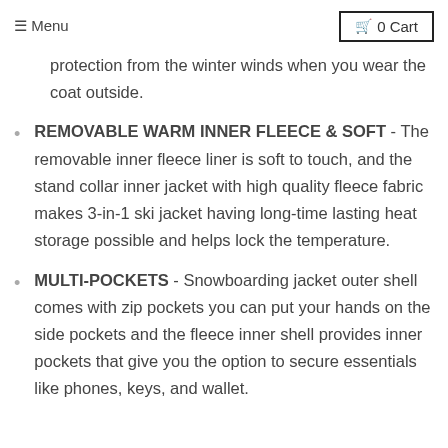≡ Menu   🛒 0 Cart
protection from the winter winds when you wear the coat outside.
REMOVABLE WARM INNER FLEECE & SOFT - The removable inner fleece liner is soft to touch, and the stand collar inner jacket with high quality fleece fabric makes 3-in-1 ski jacket having long-time lasting heat storage possible and helps lock the temperature.
MULTI-POCKETS - Snowboarding jacket outer shell comes with zip pockets you can put your hands on the side pockets and the fleece inner shell provides inner pockets that give you the option to secure essentials like phones, keys, and wallet.